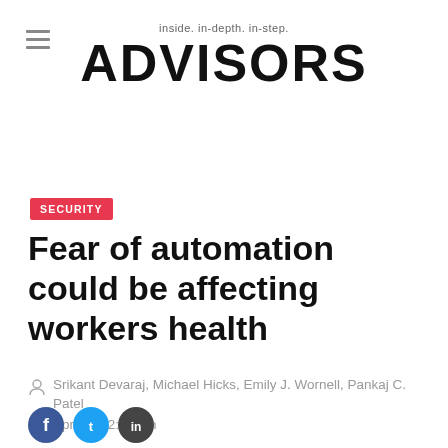inside. in-depth. in-step. ADVISORS
SECURITY
Fear of automation could be affecting workers health
Srikant Devaraj, Michael Hicks, Emily J. Wornell, Pankaj C. Patel
Apr 30, 12:13 pm